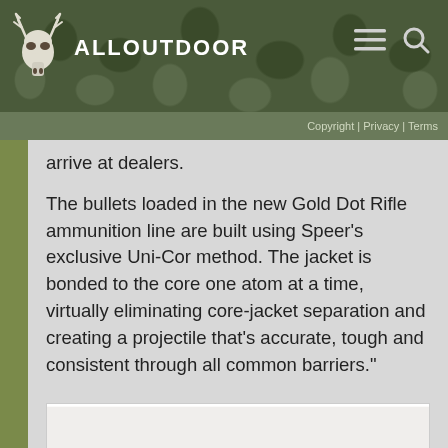ALLOUTDOOR
Copyright | Privacy | Terms
arrive at dealers.
The bullets loaded in the new Gold Dot Rifle ammunition line are built using Speer’s exclusive Uni-Cor method. The jacket is bonded to the core one atom at a time, virtually eliminating core-jacket separation and creating a projectile that’s accurate, tough and consistent through all common barriers."
[Figure (photo): Close-up photo of an expanded Gold Dot rifle bullet showing mushroomed lead tip with copper jacket petals folded back around the base.]